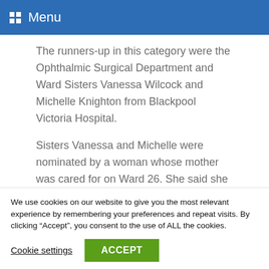Menu
The runners-up in this category were the Ophthalmic Surgical Department and Ward Sisters Vanessa Wilcock and Michelle Knighton from Blackpool Victoria Hospital.
Sisters Vanessa and Michelle were nominated by a woman whose mother was cared for on Ward 26. She said she saw Vanessa and Michelle demonstrate extreme kindness, selfless action, concern, excellent care and
We use cookies on our website to give you the most relevant experience by remembering your preferences and repeat visits. By clicking “Accept”, you consent to the use of ALL the cookies.
Cookie settings
ACCEPT